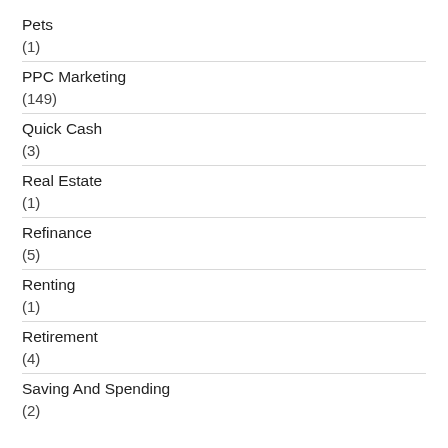Pets
(1)
PPC Marketing
(149)
Quick Cash
(3)
Real Estate
(1)
Refinance
(5)
Renting
(1)
Retirement
(4)
Saving And Spending
(2)